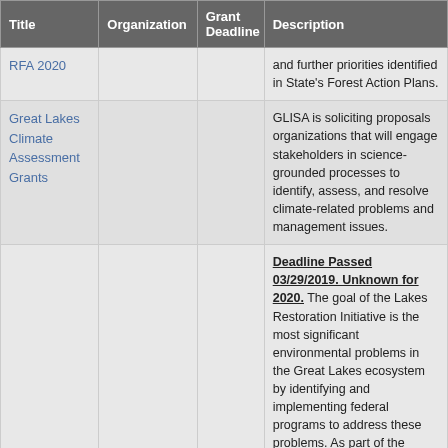| Title | Organization | Grant Deadline | Description |
| --- | --- | --- | --- |
| RFA 2020 |  |  | and further priorities identified in State's Forest Action Plans. |
| Great Lakes Climate Assessment Grants |  |  | GLISA is soliciting proposals organizations that will engage stakeholders in science-grounded processes to identify, assess, and resolve climate-related problems and management issues. |
|  |  |  | Deadline Passed 03/29/2019. Unknown for 2020. The goal of the Lakes Restoration Initiative is the most significant environmental problems in the Great Lakes ecosystem by identifying and implementing federal programs to address these problems. As part of the initiative, the two bird habitat joint ventures that are in the Great Lakes watershed, the Upper Mississippi/Great Lakes Joint Venture and the Gulf Coast Joint Venture, will be... |